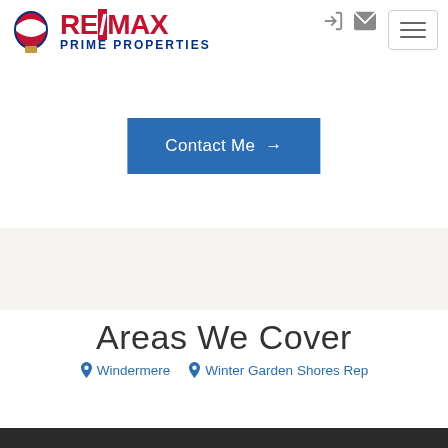[Figure (logo): RE/MAX Prime Properties logo with hot air balloon icon and text]
[Figure (other): Navigation icons: login icon and mail icon in top right]
[Figure (other): Hamburger menu button with three horizontal lines]
Contact Me →
Areas We Cover
Windermere   Winter Garden Shores Rep